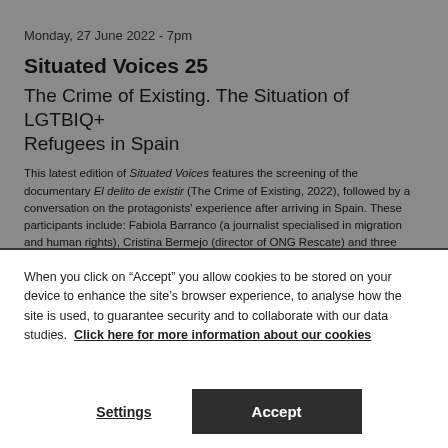Monday, 27 June 2022 - 7pm
Situated Voices 25
The Crime of Existing. The Situation of LGTBIQ+ Refugees in Spain
This latest edition of Situated Voices features the screening of the documentary El delito de existir (The Crime of Existing, 2022), followed by a conversation on the protagonists' experience after arriving in Spain. These participants include: Fabiola Barranco (a journalist specialised in migration and human rights), Cristina Bermejo (director of ONG Rescate) and three LGTBIQ+ refugees living in Spain: Alex, one of the documentary's protagonists, Fabu and Ramtin Zigorat, the session's moderator.
When you click on “Accept” you allow cookies to be stored on your device to enhance the site’s browser experience, to analyse how the site is used, to guarantee security and to collaborate with our data studies. Click here for more information about our cookies
Settings
Accept